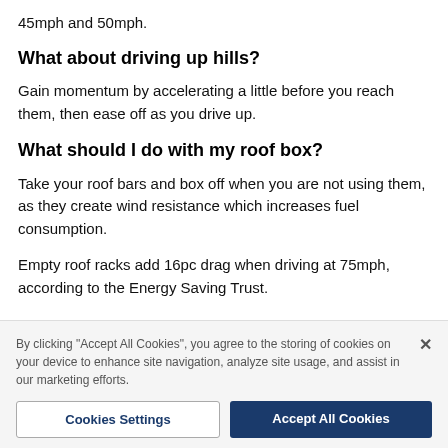45mph and 50mph.
What about driving up hills?
Gain momentum by accelerating a little before you reach them, then ease off as you drive up.
What should I do with my roof box?
Take your roof bars and box off when you are not using them, as they create wind resistance which increases fuel consumption.
Empty roof racks add 16pc drag when driving at 75mph, according to the Energy Saving Trust.
By clicking "Accept All Cookies", you agree to the storing of cookies on your device to enhance site navigation, analyze site usage, and assist in our marketing efforts.
Cookies Settings
Accept All Cookies